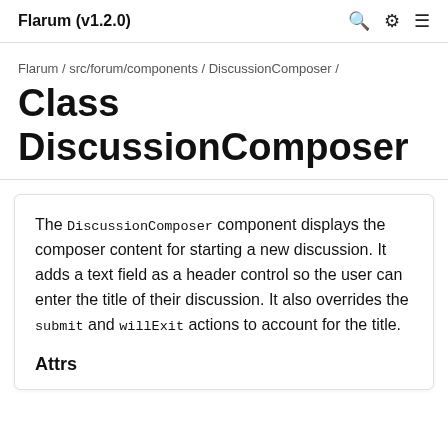Flarum (v1.2.0)
Flarum / src/forum/components / DiscussionComposer /
Class DiscussionComposer
The DiscussionComposer component displays the composer content for starting a new discussion. It adds a text field as a header control so the user can enter the title of their discussion. It also overrides the submit and willExit actions to account for the title.
Attrs